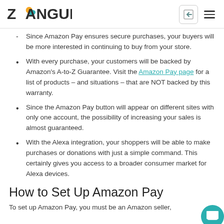ZANGURU
Since Amazon Pay ensures secure purchases, your buyers will be more interested in continuing to buy from your store.
With every purchase, your customers will be backed by Amazon's A-to-Z Guarantee. Visit the Amazon Pay page for a list of products – and situations – that are NOT backed by this warranty.
Since the Amazon Pay button will appear on different sites with only one account, the possibility of increasing your sales is almost guaranteed.
With the Alexa integration, your shoppers will be able to make purchases or donations with just a simple command. This certainly gives you access to a broader consumer market for Alexa devices.
How to Set Up Amazon Pay
To set up Amazon Pay, you must be an Amazon seller,